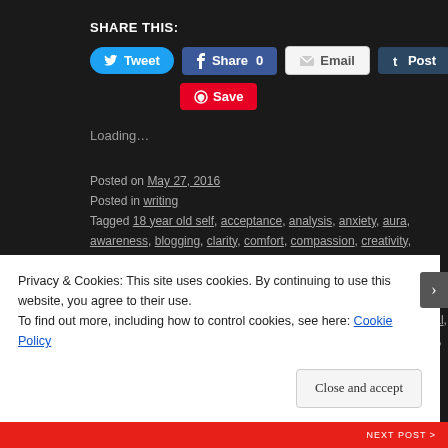SHARE THIS:
Tweet  Share 0  Email  Post
Save
Loading…
Posted on May 27, 2016
Posted in writing
Tagged 18 year old self, acceptance, analysis, anxiety, aura, awareness, blogging, clarity, comfort, compassion, creativity, denial, depression, depth, dreams, expression, fear, forgiveness, goodbyes, gratitude, happiness, heart, heartbreak, honesty, human, introvert, journey, life, loss, love, lust, melancholy, memories, mind, nostalgia, observation, open letter, pain, personal, reality, sadness, soul, story, struggle, thoughts, time, words, writer, writing 7 Comments
Privacy & Cookies: This site uses cookies. By continuing to use this website, you agree to their use.
To find out more, including how to control cookies, see here: Cookie Policy
Close and accept